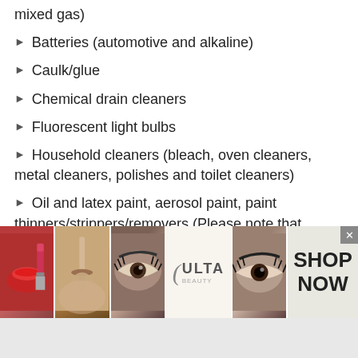mixed gas)
Batteries (automotive and alkaline)
Caulk/glue
Chemical drain cleaners
Fluorescent light bulbs
Household cleaners (bleach, oven cleaners, metal cleaners, polishes and toilet cleaners)
Oil and latex paint, aerosol paint, paint thinners/strippers/removers (Please note that empty latex paint containers and hardened solid paint are safe to put in the regular garbage. People can bring the liquid to a solid l
[Figure (other): Advertisement banner for ULTA Beauty showing makeup imagery including lips, brush, and eye makeup with SHOP NOW call to action]